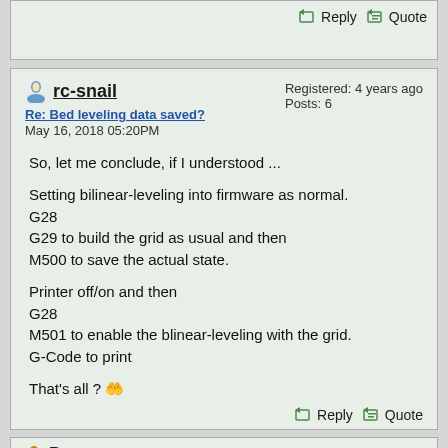[Figure (screenshot): Top partial forum post showing Reply and Quote buttons]
rc-snail | Re: Bed leveling data saved? | May 16, 2018 05:20PM | Registered: 4 years ago | Posts: 6
So, let me conclude, if I understood ...
Setting bilinear-leveling into firmware as normal.
G28
G29 to build the grid as usual and then
M500 to save the actual state.
Printer off/on and then
G28
M501 to enable the blinear-leveling with the grid.
G-Code to print
That's all ? 😲